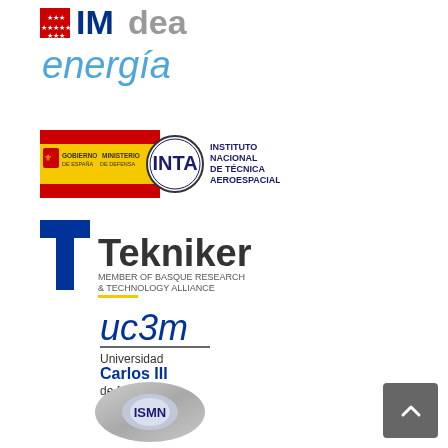[Figure (logo): IMdea energia logo with Madrid community emblem and blue text]
[Figure (logo): INTA - Instituto Nacional de Técnica Aeroespacial logo with Spanish government emblem]
[Figure (logo): Tekniker logo - Member of Basque Research & Technology Alliance]
[Figure (logo): uc3m - Universidad Carlos III de Madrid logo]
[Figure (logo): ISMN logo - metallic badge]
[Figure (other): Gray scroll-to-top button with upward chevron]